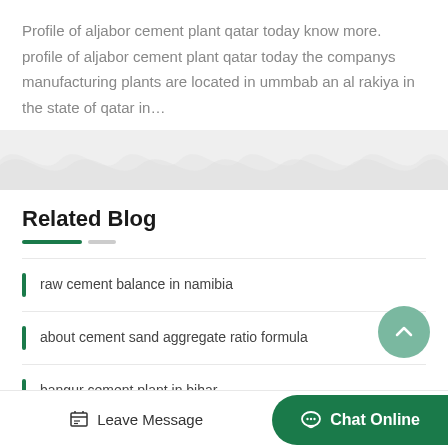Profile of aljabor cement plant qatar today know more. profile of aljabor cement plant qatar today the companys manufacturing plants are located in ummbab an al rakiya in the state of qatar in…
Related Blog
raw cement balance in namibia
about cement sand aggregate ratio formula
bangur cement plant in bihar
Leave Message  Chat Online